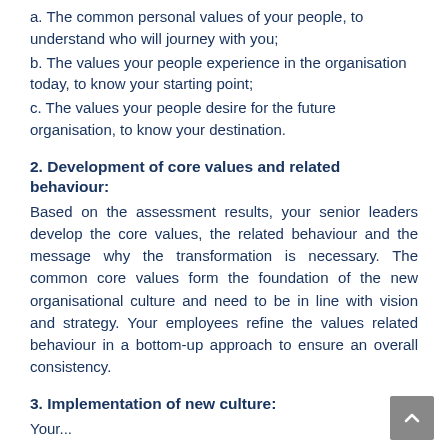a. The common personal values of your people, to understand who will journey with you;
b. The values your people experience in the organisation today, to know your starting point;
c. The values your people desire for the future organisation, to know your destination.
2. Development of core values and related behaviour:
Based on the assessment results, your senior leaders develop the core values, the related behaviour and the message why the transformation is necessary. The common core values form the foundation of the new organisational culture and need to be in line with vision and strategy. Your employees refine the values related behaviour in a bottom-up approach to ensure an overall consistency.
3. Implementation of new culture: